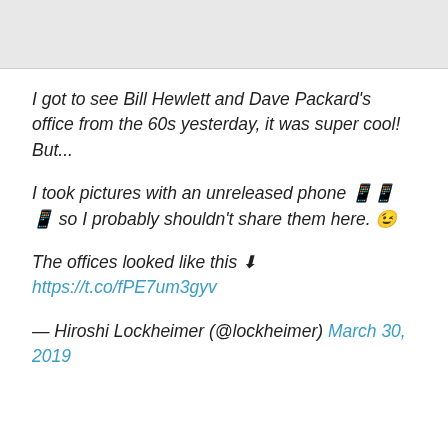[Figure (photo): Gray image area at top of page, partially visible cropped image]
I got to see Bill Hewlett and Dave Packard's office from the 60s yesterday, it was super cool! But...

I took pictures with an unreleased phone 📱📱📱 so I probably shouldn't share them here. 😉

The offices looked like this ⬇
https://t.co/fPE7um3gyv

— Hiroshi Lockheimer (@lockheimer) March 30, 2019